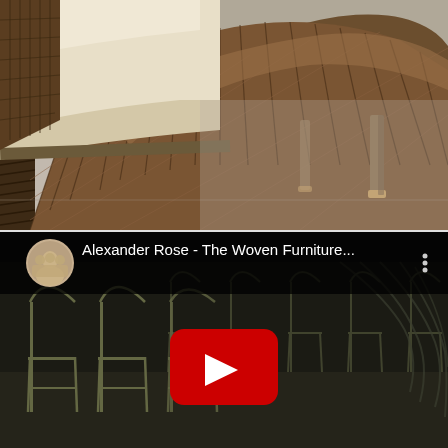[Figure (photo): Close-up photograph of woven wicker/rattan outdoor furniture armchair showing the braided weave pattern of the arm and side, with cream cushion and wooden legs visible, on a grey concrete surface.]
[Figure (screenshot): YouTube video thumbnail screenshot showing 'Alexander Rose - The Woven Furniture...' with a circular channel avatar icon, three-dot menu, and a red YouTube play button overlay. The video content shows metal furniture frames/chairs in what appears to a warehouse or factory setting.]